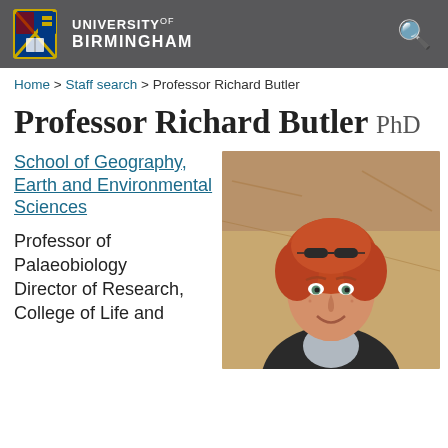UNIVERSITY OF BIRMINGHAM
Home > Staff search > Professor Richard Butler
Professor Richard Butler PhD
School of Geography, Earth and Environmental Sciences
Professor of Palaeobiology
Director of Research, College of Life and
[Figure (photo): Headshot photo of Professor Richard Butler, a young man with red hair and sunglasses on his head, smiling, wearing a dark jacket, standing in front of a rocky background.]